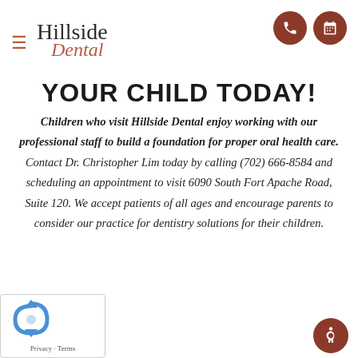Hillside Dental
YOUR CHILD TODAY!
Children who visit Hillside Dental enjoy working with our professional staff to build a foundation for proper oral health care. Contact Dr. Christopher Lim today by calling (702) 666-8584 and scheduling an appointment to visit 6090 South Fort Apache Road, Suite 120. We accept patients of all ages and encourage parents to consider our practice for dentistry solutions for their children.